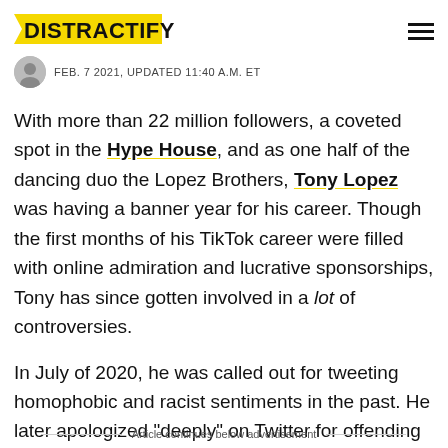DISTRACTIFY
FEB. 7 2021, UPDATED 11:40 A.M. ET
With more than 22 million followers, a coveted spot in the Hype House, and as one half of the dancing duo the Lopez Brothers, Tony Lopez was having a banner year for his career. Though the first months of his TikTok career were filled with online admiration and lucrative sponsorships, Tony has since gotten involved in a lot of controversies.
In July of 2020, he was called out for tweeting homophobic and racist sentiments in the past. He later apologized "deeply" on Twitter for offending people.
Article continues below advertisement